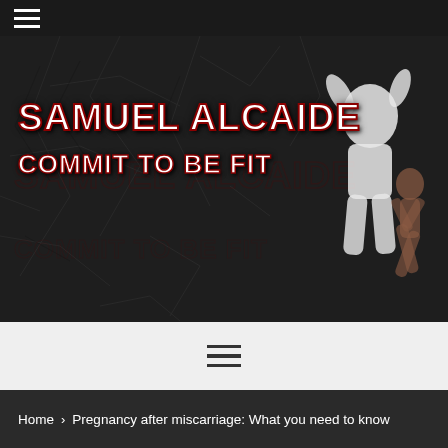≡ (hamburger menu)
[Figure (illustration): Dark cracked stone texture background with silhouettes of a muscular man and a woman doing fitness poses. White bold text reads 'SAMUEL ALCAIDE' and below it 'COMMIT TO BE FIT', with dark red outline. A faded shadow echo of the same text appears behind.]
SAMUEL ALCAIDE
COMMIT TO BE FIT
≡ (hamburger menu, middle nav bar)
Home › Pregnancy after miscarriage: What you need to know